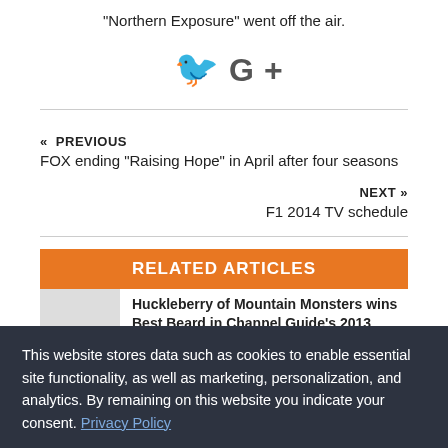"Northern Exposure" went off the air.
[Figure (other): Twitter and Google+ social sharing icons]
« PREVIOUS
FOX ending "Raising Hope" in April after four seasons
NEXT »
F1 2014 TV schedule
RELATED ARTICLES
Huckleberry of Mountain Monsters wins Best Beard in Channel Guide's 2013
This website stores data such as cookies to enable essential site functionality, as well as marketing, personalization, and analytics. By remaining on this website you indicate your consent. Privacy Policy